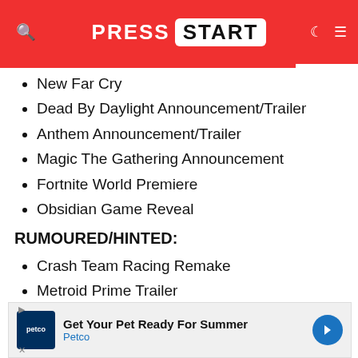PRESS START
New Far Cry
Dead By Daylight Announcement/Trailer
Anthem Announcement/Trailer
Magic The Gathering Announcement
Fortnite World Premiere
Obsidian Game Reveal
RUMOURED/HINTED:
Crash Team Racing Remake
Metroid Prime Trailer
God of War...
Mo...
[Figure (screenshot): Petco advertisement banner: Get Your Pet Ready For Summer - Petco]